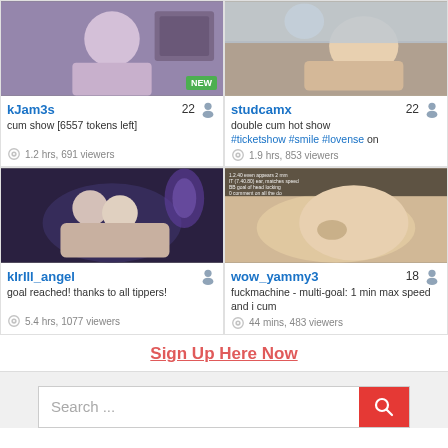[Figure (screenshot): Webcam grid showing 4 live stream cards: kjam3s, studcamx, kirill_angel, wow_yammy3]
kjam3s 22 | cum show [6557 tokens left] | 1.2 hrs, 691 viewers
studcamx 22 | double cum hot show #ticketshow #smile #lovense on | 1.9 hrs, 853 viewers
kirill_angel | goal reached! thanks to all tippers! | 5.4 hrs, 1077 viewers
wow_yammy3 18 | fuckmachine - multi-goal: 1 min max speed and i cum | 44 mins, 483 viewers
Sign Up Here Now
Search ...